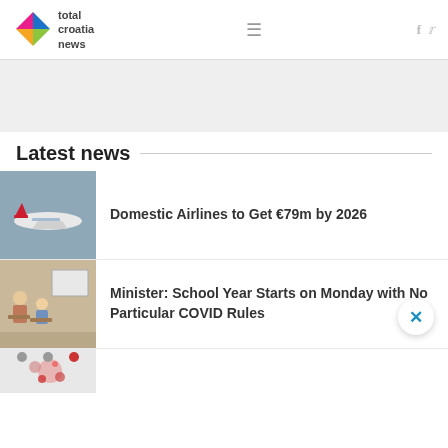total croatia news
[Figure (screenshot): Gray advertisement banner area]
Latest news
[Figure (photo): Croatia Airlines airplane in flight against gray sky]
Domestic Airlines to Get €79m by 2026
[Figure (photo): Classroom with students sitting at desks and a whiteboard in background]
Minister: School Year Starts on Monday with No Particular COVID Rules
[Figure (photo): Partial third news item thumbnail - map illustration]